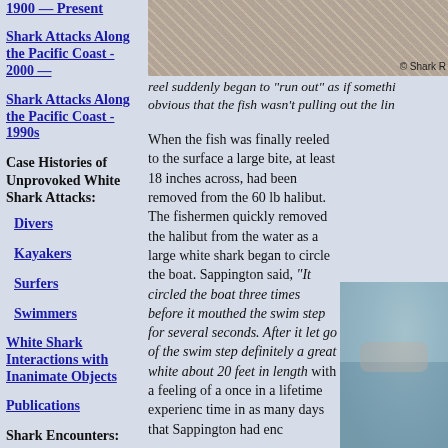1900 — Present
Shark Attacks Along the Pacific Coast - 2000 —
Shark Attacks Along the Pacific Coast - 1990s
Case Histories of Unprovoked White Shark Attacks:
Divers
Kayakers
Surfers
Swimmers
White Shark Interactions with Inanimate Objects
Publications
Shark Encounters:
[Figure (photo): Top banner photo showing a rocky or sandy textured surface, possibly fish or marine scene. Copyright mark: © Shark R]
reel suddenly began to "run out" as if somethi... obvious that the fish wasn't pulling out the lin...
When the fish was finally reeled to the surface a large bite, at least 18 inches across, had been removed from the 60 lb halibut. The fishermen quickly removed the halibut from the water as a large white shark began to circle the boat. Sappington said, "It circled the boat three times before it mouthed the swim step for several seconds. After it let go of the swim step... definitely a great white about 20 feet in length... with a feeling of a once in a lifetime experience... time in as many days that Sappington had enc...
[Figure (photo): Photo of water surface showing a large shark or marine animal partially visible, with ocean water in background.]